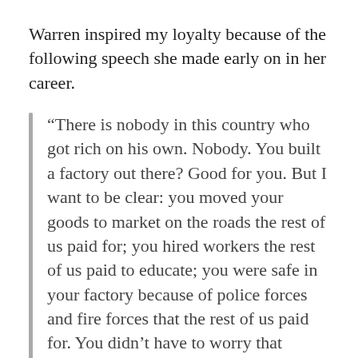Warren inspired my loyalty because of the following speech she made early on in her career.
“There is nobody in this country who got rich on his own. Nobody. You built a factory out there? Good for you. But I want to be clear: you moved your goods to market on the roads the rest of us paid for; you hired workers the rest of us paid to educate; you were safe in your factory because of police forces and fire forces that the rest of us paid for. You didn’t have to worry that marauding bands would come and